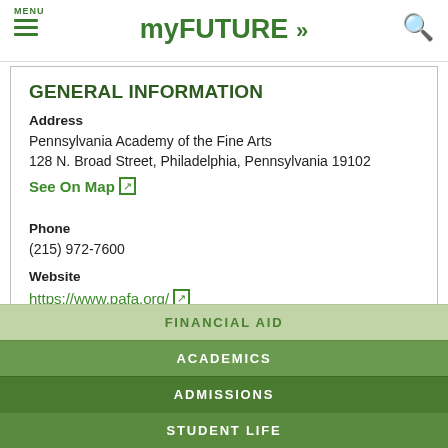MENU  myFUTURE »  🔍
GENERAL INFORMATION
Address
Pennsylvania Academy of the Fine Arts
128 N. Broad Street, Philadelphia, Pennsylvania 19102
See On Map 🔗
Phone
(215) 972-7600
Website
https://www.pafa.org/ 🔗
FINANCIAL AID
ACADEMICS
ADMISSIONS
STUDENT LIFE